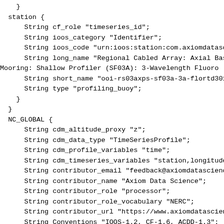}
  station {
      String cf_role "timeseries_id";
      String ioos_category "Identifier";
      String ioos_code "urn:ioos:station:com.axiomdatasc
      String long_name "Regional Cabled Array: Axial Bas
Mooring: Shallow Profiler (SF03A): 3-Wavelength Fluoro
      String short_name "ooi-rs03axps-sf03a-3a-flortd301
      String type "profiling_buoy";
    }
  }
  NC_GLOBAL {
      String cdm_altitude_proxy "z";
      String cdm_data_type "TimeSeriesProfile";
      String cdm_profile_variables "time";
      String cdm_timeseries_variables "station,longitude
      String contributor_email "feedback@axiomdatascienc
      String contributor_name "Axiom Data Science";
      String contributor_role "processor";
      String contributor_role_vocabulary "NERC";
      String contributor_url "https://www.axiomdatascien
      String Conventions "IOOS-1.2, CF-1.6, ACDD-1.3";
      String creator_institution "Ocean Observatories In
      String creator_name "Ocean Observatories Initiativ
      String creator_sector "gov_federal";
      String creator_type "institution";